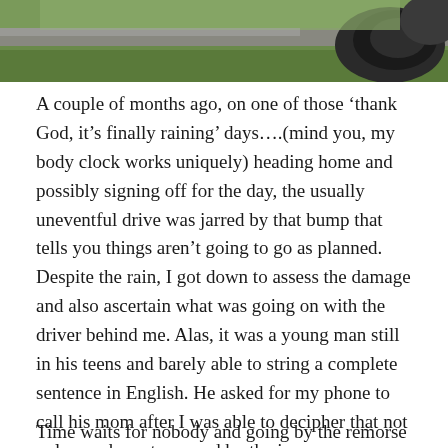[Figure (photo): Partial photo at top of page, appears to show an outdoor scene with grass and what looks like a tire or dark curved object on the right side.]
A couple of months ago, on one of those ‘thank God, it’s finally raining’ days….(mind you, my body clock works uniquely) heading home and possibly signing off for the day, the usually uneventful drive was jarred by that bump that tells you things aren’t going to go as planned. Despite the rain, I got down to assess the damage and also ascertain what was going on with the driver behind me. Alas, it was a young man still in his teens and barely able to string a complete sentence in English. He asked for my phone to call his mom after I was able to decipher that not only was he not covered by the insurance company but he didn’t have a driver’s license and this was his second accident that week.
Time waits for nobody and going by the remorse he